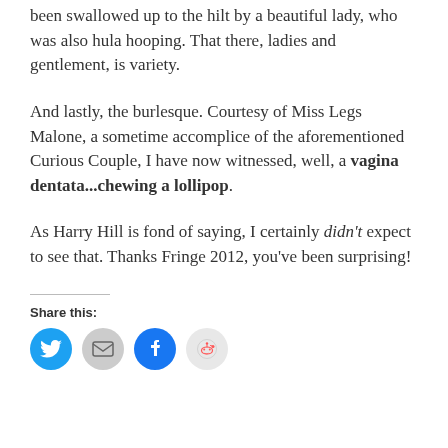been swallowed up to the hilt by a beautiful lady, who was also hula hooping. That there, ladies and gentlement, is variety.
And lastly, the burlesque. Courtesy of Miss Legs Malone, a sometime accomplice of the aforementioned Curious Couple, I have now witnessed, well, a vagina dentata...chewing a lollipop.
As Harry Hill is fond of saying, I certainly didn't expect to see that. Thanks Fringe 2012, you've been surprising!
Share this:
[Figure (infographic): Social share buttons: Twitter (blue circle), Email (gray circle), Facebook (blue circle), Reddit (light gray circle)]